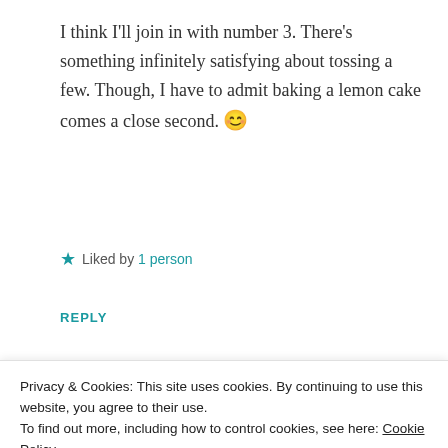I think I'll join in with number 3. There's something infinitely satisfying about tossing a few. Though, I have to admit baking a lemon cake comes a close second. 😊
★ Liked by 1 person
REPLY
[Figure (photo): Circular avatar photo of Quirky Girl, a woman with dark hair]
Quirky Girl
Privacy & Cookies: This site uses cookies. By continuing to use this website, you agree to their use.
To find out more, including how to control cookies, see here: Cookie Policy
Close and accept
remaining lemons for that yummy cake 😊